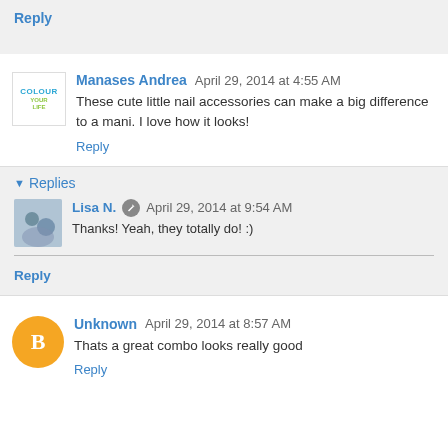Reply
Manases Andrea  April 29, 2014 at 4:55 AM
These cute little nail accessories can make a big difference to a mani. I love how it looks!
Reply
Replies
Lisa N.  April 29, 2014 at 9:54 AM
Thanks! Yeah, they totally do! :)
Reply
Unknown  April 29, 2014 at 8:57 AM
Thats a great combo looks really good
Reply